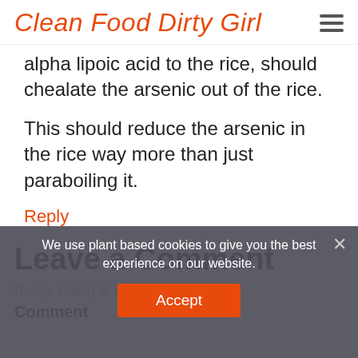Clean Food Dirty Girl
alpha lipoic acid to the rice, should chealate the arsenic out of the rice.
This should reduce the arsenic in the rice way more than just paraboiling it.
Reply
Leave a Comment
Recipe Rating
Comment
We use plant based cookies to give you the best experience on our website.